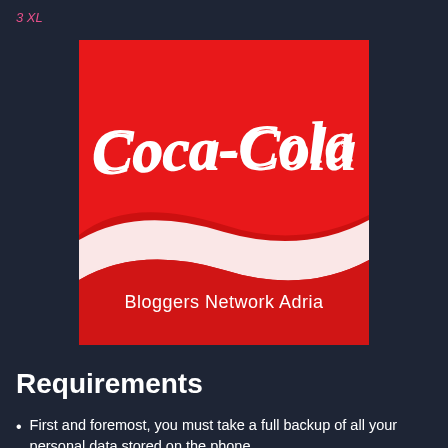3 XL
[Figure (logo): Coca-Cola logo on red background with white script lettering and wave design, with text 'Bloggers Network Adria' at bottom]
Requirements
First and foremost, you must take a full backup of all your personal data stored on the phone